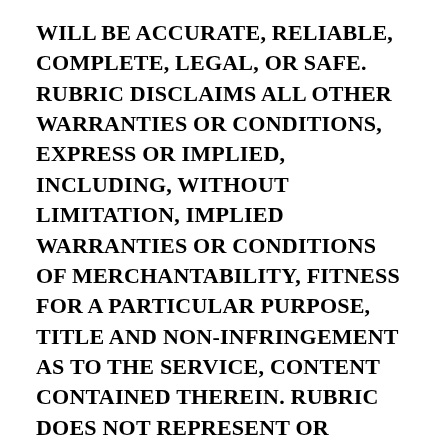WILL BE ACCURATE, RELIABLE, COMPLETE, LEGAL, OR SAFE. RUBRIC DISCLAIMS ALL OTHER WARRANTIES OR CONDITIONS, EXPRESS OR IMPLIED, INCLUDING, WITHOUT LIMITATION, IMPLIED WARRANTIES OR CONDITIONS OF MERCHANTABILITY, FITNESS FOR A PARTICULAR PURPOSE, TITLE AND NON-INFRINGEMENT AS TO THE SERVICE, CONTENT CONTAINED THEREIN. RUBRIC DOES NOT REPRESENT OR WARRANT THAT CONTENT ON THE SERVICE IS ACCURATE, COMPLETE, RELIABLE, CURRENT OR ERROR-FREE. WE WILL NOT BE LIABLE FOR ANY LOSS OF ANY